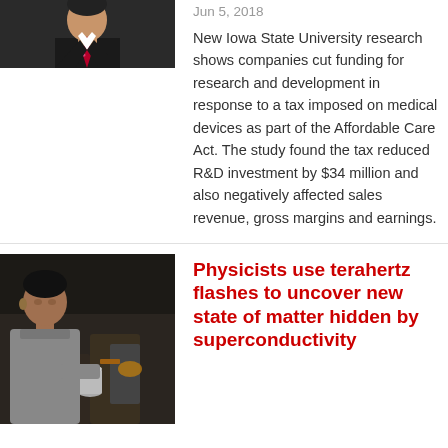[Figure (photo): Photo of a man in a dark suit and red polka dot tie, cropped at the chest/head area]
Jun 5, 2018
New Iowa State University research shows companies cut funding for research and development in response to a tax imposed on medical devices as part of the Affordable Care Act. The study found the tax reduced R&D investment by $34 million and also negatively affected sales revenue, gross margins and earnings.
[Figure (photo): Photo of a man in a gray shirt in a laboratory setting with scientific equipment]
Physicists use terahertz flashes to uncover new state of matter hidden by superconductivity